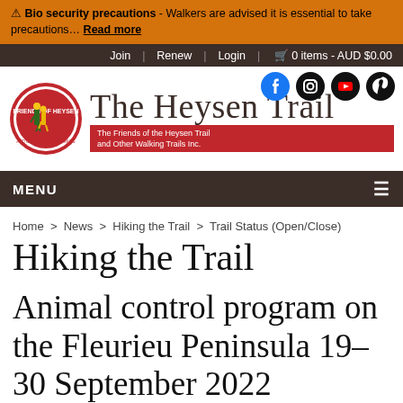⚠ Bio security precautions - Walkers are advised it is essential to take precautions… Read more
Join | Renew | Login | 🛒 0 items - AUD $0.00
[Figure (logo): Friends of Heysen Trail circular logo with hikers and text around border]
The Heysen Trail
The Friends of the Heysen Trail and Other Walking Trails Inc.
MENU ☰
Home > News > Hiking the Trail > Trail Status (Open/Close)
Hiking the Trail
Animal control program on the Fleurieu Peninsula 19-30 September 2022